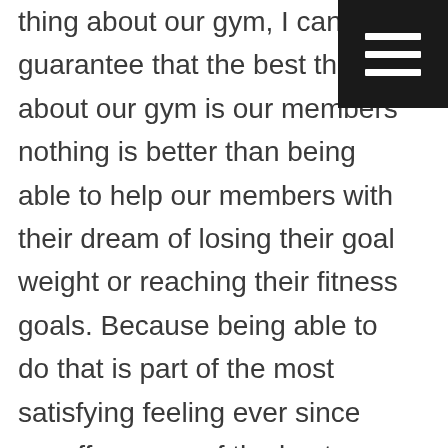thing about our gym, I can guarantee that the best thing about our gym is our members nothing is better than being able to help our members with their dream of losing their goal weight or reaching their fitness goals. Because being able to do that is part of the most satisfying feeling ever since we offer some of the best prices on membership so that our members can always be able to afford to work out at our gym.
We offer you the most affordable membership because we simply care about our members' savings I only $39 per month you can get yourself a membership or if you are a new member that you can start your first month for only a dollar. PC can help get